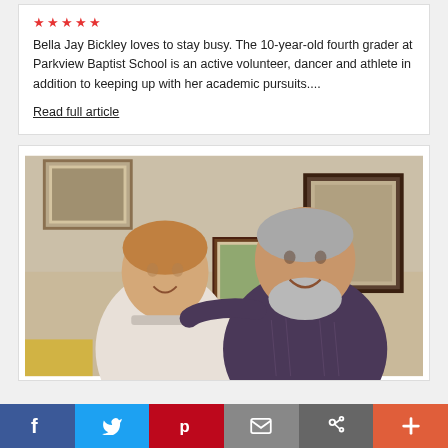Bella Jay Bickley loves to stay busy. The 10-year-old fourth grader at Parkview Baptist School is an active volunteer, dancer and athlete in addition to keeping up with her academic pursuits....
Read full article
[Figure (photo): Two men posing together indoors, younger man on left with arm around older man on right who has gray beard, framed pictures on wall behind them]
[Figure (other): Social media sharing bar with Facebook, Twitter, Pinterest, email, link, and plus buttons]